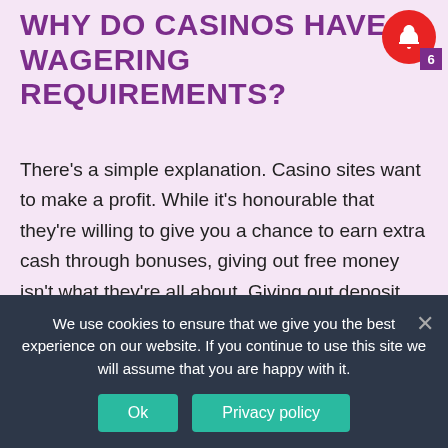WHY DO CASINOS HAVE WAGERING REQUIREMENTS?
There's a simple explanation. Casino sites want to make a profit. While it's honourable that they're willing to give you a chance to earn extra cash through bonuses, giving out free money isn't what they're all about. Giving out deposit bonuses is a form of marketing strategy where sites attract new players through incentives.
Earlier, when systems weren't developed well enough, players would sign up with several casino sites at once
We use cookies to ensure that we give you the best experience on our website. If you continue to use this site we will assume that you are happy with it.